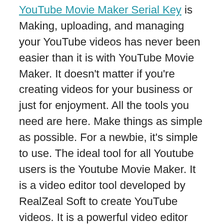YouTube Movie Maker Serial Key is Making, uploading, and managing your YouTube videos has never been easier than it is with YouTube Movie Maker. It doesn't matter if you're creating videos for your business or just for enjoyment. All the tools you need are here. Make things as simple as possible. For a newbie, it's simple to use. The ideal tool for all Youtube users is the Youtube Movie Maker. It is a video editor tool developed by RealZeal Soft to create YouTube videos. It is a powerful video editor that helps you edit video and audio formats. YouTube Movie Maker can make 4K super HD videos easily and easily upload them to youTube.
YouTube Movie Maker Keygen is a user-friendly